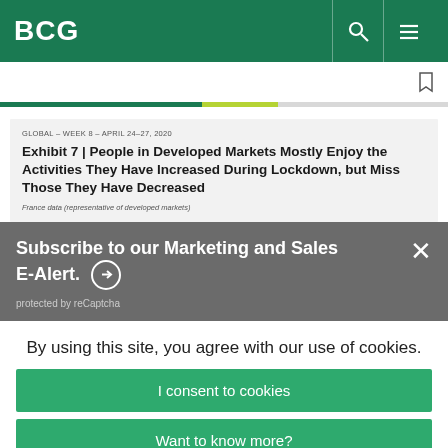BCG
Exhibit 7 | People in Developed Markets Mostly Enjoy the Activities They Have Increased During Lockdown, but Miss Those They Have Decreased
GLOBAL – WEEK 8 – APRIL 24–27, 2020
France data (representative of developed markets)
Subscribe to our Marketing and Sales E-Alert.
protected by reCaptcha
By using this site, you agree with our use of cookies.
I consent to cookies
Want to know more?
Read our Cookie Policy